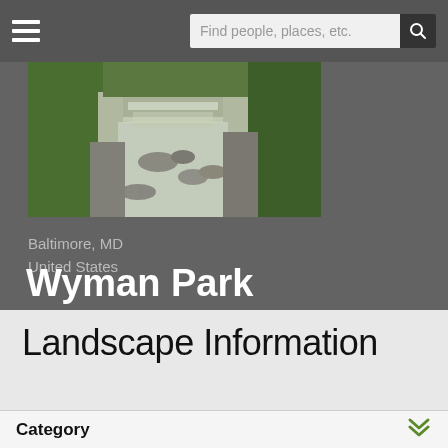Find people, places, etc.
[Figure (photo): A rocky stream or creek with flowing water, surrounded by green vegetation and rocks on both sides, in what appears to be a park or natural area.]
Baltimore, MD
United States
Wyman Park
Landscape Information
Category